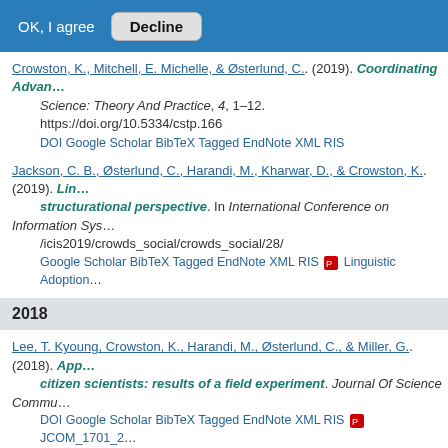OK, I agree  Decline
Crowston, K., Mitchell, E. Michelle, & Østerlund, C.. (2019). Coordinating Advan... Science: Theory And Practice, 4, 1–12. https://doi.org/10.5334/cstp.166 DOI Google Scholar BibTeX Tagged EndNote XML RIS
Jackson, C. B., Østerlund, C., Harandi, M., Kharwar, D., & Crowston, K.. (2019). Lin... structurational perspective. In International Conference on Information Sys... /icis2019/crowds_social/crowds_social/28/ Google Scholar BibTeX Tagged EndNote XML RIS [PDF] Linguistic Adoption...
2018
Lee, T. Kyoung, Crowston, K., Harandi, M., Østerlund, C., & Miller, G.. (2018). App... citizen scientists: results of a field experiment. Journal Of Science Commu... DOI Google Scholar BibTeX Tagged EndNote XML RIS [PDF] JCOM_1701_2...
Crowston, K., Mitchell, E. Michelle, & Østerlund, C.. (2018). Coordinating advan... International Conference on System Sciences (51stst ed.). https://doi.org/10... DOI Google Scholar BibTeX Tagged EndNote XML RIS [PDF] Quench to dis...
Jackson, C. B., Crowston, K., & Østerlund, C.. (2018). Did they login? Patterns of... Proceedings Of The Acm On Human-Computer Interaction, 2(CSCW), Article... DOI Google Scholar BibTeX Tagged EndNote XML RIS [PDF] anonymois-...